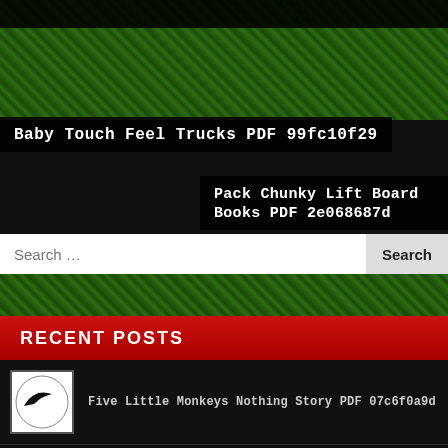[Figure (photo): Green grass background texture at the top of the page]
Baby Touch Feel Trucks PDF 99fc10f29
Pack Chunky Lift Board Books PDF 2e068687d
Search …
RECENT POSTS
[Figure (illustration): Nike swoosh logo on white soccer ball]
Five Little Monkeys Nothing Story PDF 07c6f0a9d
[Figure (illustration): Black and white soccer ball]
Ark Daily Bread Little Hearts PDF 1c6995529
[Figure (photo): Small thumbnail image (partially visible)]
Dummy Big Hide Lift Flap PDF Dull 430a45